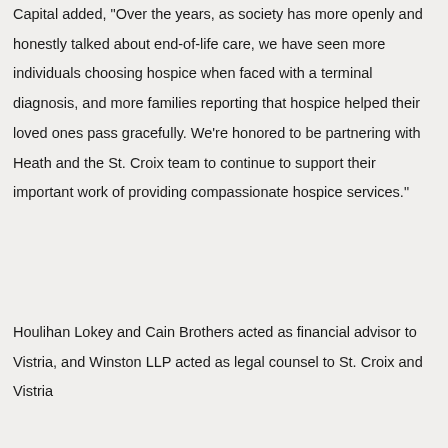Capital added, "Over the years, as society has more openly and honestly talked about end-of-life care, we have seen more individuals choosing hospice when faced with a terminal diagnosis, and more families reporting that hospice helped their loved ones pass gracefully. We're honored to be partnering with Heath and the St. Croix team to continue to support their important work of providing compassionate hospice services."
Houlihan Lokey and Cain Brothers acted as financial advisor to Vistria, and Winston LLP acted as legal counsel to St. Croix and Vistria